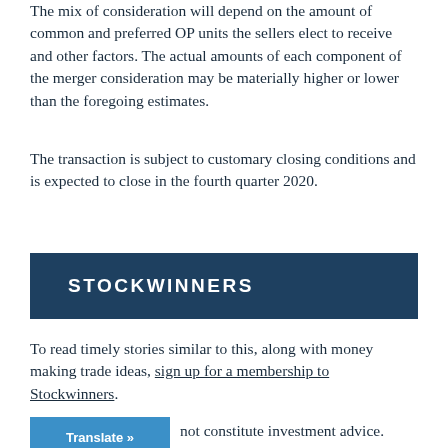The mix of consideration will depend on the amount of common and preferred OP units the sellers elect to receive and other factors. The actual amounts of each component of the merger consideration may be materially higher or lower than the foregoing estimates.
The transaction is subject to customary closing conditions and is expected to close in the fourth quarter 2020.
[Figure (logo): Dark teal banner with STOCKWINNERS text in white bold uppercase letters]
To read timely stories similar to this, along with money making trade ideas, sign up for a membership to Stockwinners.
not constitute investment advice. Each